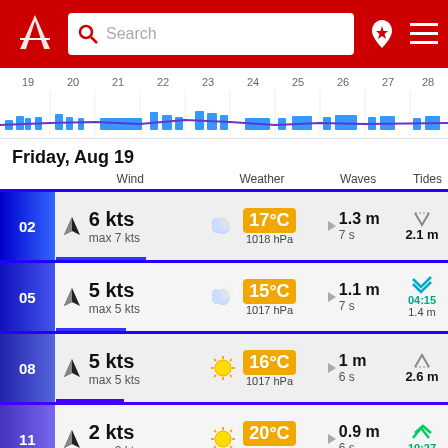[Figure (screenshot): App header with logo, search bar, location icon, and menu icon on red background]
[Figure (bar-chart): Timeline chart showing wave/wind data for days 19-28 with blue bars and purple line]
Friday, Aug 19
|  | Wind | Weather | Waves | Tides |
| --- | --- | --- | --- | --- |
| 02 | 6 kts max 7 kts | 17°C 1018 hPa | 1.3 m 7 s | 2.1 m |
| 05 | 5 kts max 5 kts | 15°C 1017 hPa | 1.1 m 7 s | 04:15 1.4 m |
| 08 | 5 kts max 5 kts | 16°C 1017 hPa | 1 m 6 s | 2.6 m |
| 11 | 2 kts max 2 kts | 20°C 1017 hPa | 0.9 m 6 s | 10:27 |